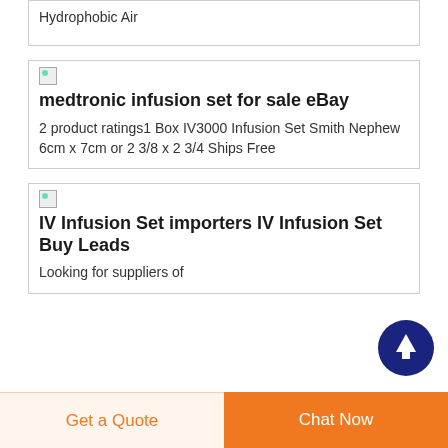Hydrophobic Air
[Figure (other): Broken image placeholder for medtronic infusion set listing]
medtronic infusion set for sale eBay
2 product ratings1 Box IV3000 Infusion Set Smith Nephew 6cm x 7cm or 2 3/8 x 2 3/4 Ships Free
[Figure (other): Broken image placeholder for IV Infusion Set importers listing]
IV Infusion Set importers IV Infusion Set Buy Leads
Looking for suppliers of
Get a Quote
Chat Now